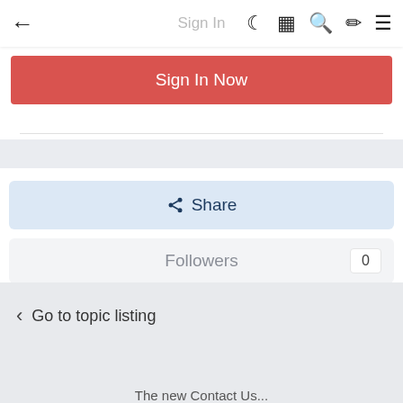Sign In (nav bar with back arrow, moon icon, grid icon, search icon, brush icon, menu icon)
Sign In Now
Share
Followers 0
Go to topic listing
The new Contact Us...